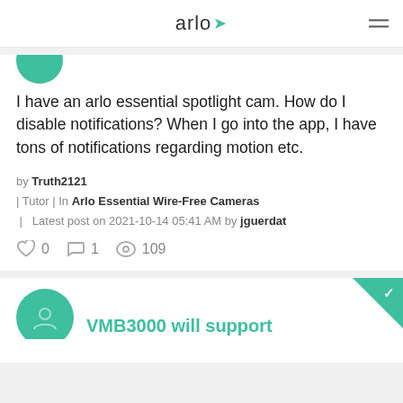arlo
I have an arlo essential spotlight cam. How do I disable notifications? When I go into the app, I have tons of notifications regarding motion etc.
by Truth2121 | Tutor | In Arlo Essential Wire-Free Cameras | Latest post on 2021-10-14 05:41 AM by jguerdat
0  1  109
VMB3000 will support